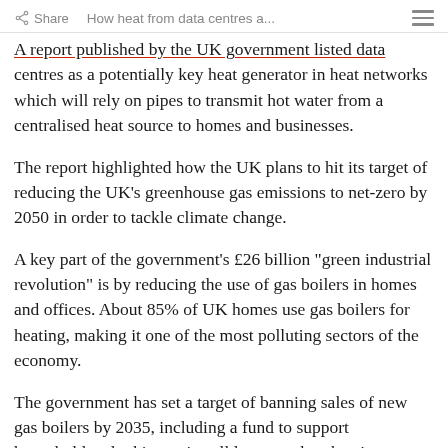Share   How heat from data centres a...
A report published by the UK government listed data centres as a potentially key heat generator in heat networks which will rely on pipes to transmit hot water from a centralised heat source to homes and businesses.
The report highlighted how the UK plans to hit its target of reducing the UK’s greenhouse gas emissions to net-zero by 2050 in order to tackle climate change.
A key part of the government’s £26 billion “green industrial revolution” is by reducing the use of gas boilers in homes and offices. About 85% of UK homes use gas boilers for heating, making it one of the most polluting sectors of the economy.
The government has set a target of banning sales of new gas boilers by 2035, including a fund to support householders looking to install lower-carbon heating